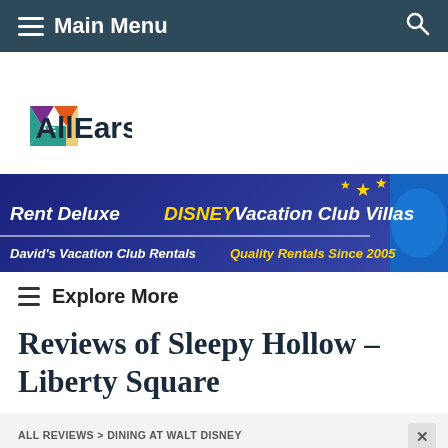Main Menu
[Figure (logo): AllEars.net logo with hexagonal AE icon in purple, orange, teal, and green, and bold AllEars wordmark]
[Figure (infographic): Advertisement banner: Rent Deluxe DISNEY Vacation Club Villas – David's Vacation Club Rentals – Quality Rentals Since 2005]
Explore More
Reviews of Sleepy Hollow – Liberty Square
ALL REVIEWS > DINING AT WALT DISNEY WORLD REVIEWS > MAGIC KINGDOM REVIEWS > SLEEPY HOLLOW - LIBERTY